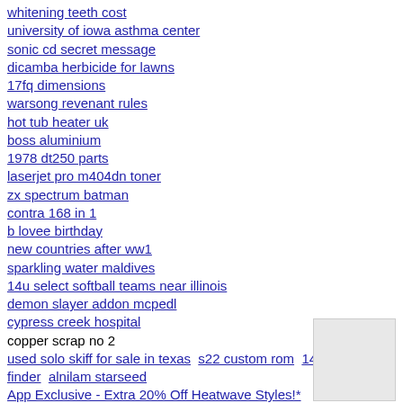whitening teeth cost
university of iowa asthma center
sonic cd secret message
dicamba herbicide for lawns
17fq dimensions
warsong revenant rules
hot tub heater uk
boss aluminium
1978 dt250 parts
laserjet pro m404dn toner
zx spectrum batman
contra 168 in 1
b lovee birthday
new countries after ww1
sparkling water maldives
14u select softball teams near illinois
demon slayer addon mcpedl
cypress creek hospital
copper scrap no 2
used solo skiff for sale in texas  s22 custom rom  14 day money finder  alnilam starseed
App Exclusive - Extra 20% Off Heatwave Styles!*
£1 Next Day Delivery!* use code: POUND
SUBSCRIBE AND GET AN EXTRA 10% OFF!*